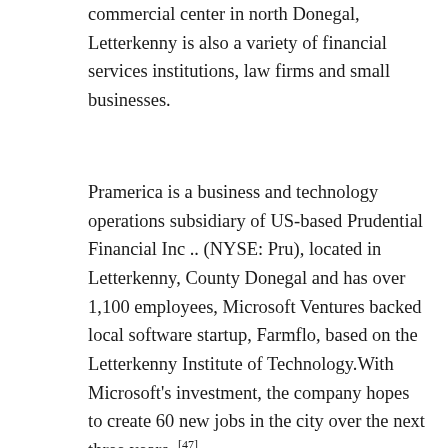commercial center in north Donegal, Letterkenny is also a variety of financial services institutions, law firms and small businesses.
Pramerica is a business and technology operations subsidiary of US-based Prudential Financial Inc .. (NYSE: Pru), located in Letterkenny, County Donegal and has over 1,100 employees, Microsoft Ventures backed local software startup, Farmflo, based on the Letterkenny Institute of Technology.With Microsoft's investment, the company hopes to create 60 new jobs in the city over the next three years. [47]
There has been a significant decline in the manufacturing base, while employment has increased in the services sector. Since 2002, there has been a significant expansion in the retail sector. Allied to this growth has been the development of the cultural